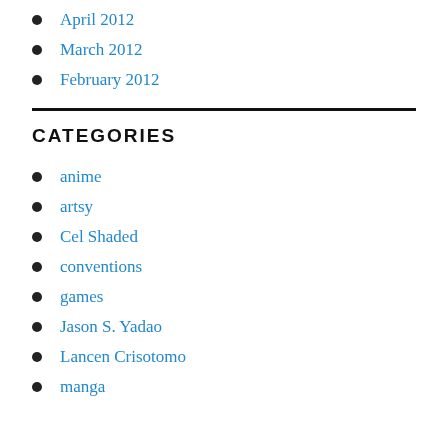April 2012
March 2012
February 2012
CATEGORIES
anime
artsy
Cel Shaded
conventions
games
Jason S. Yadao
Lancen Crisotomo
manga